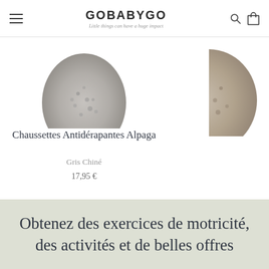GOBABYGO — Little things can have a huge impact
[Figure (photo): Partial overhead view of alpaca anti-slip socks in grey color, showing textured sole]
Chaussettes Antidérapantes Alpaga
Gris Chiné
17,95 €
[Figure (photo): Partial view of a second product sock on the right edge of the page]
Obtenez des exercices de motricité, des activités et de belles offres